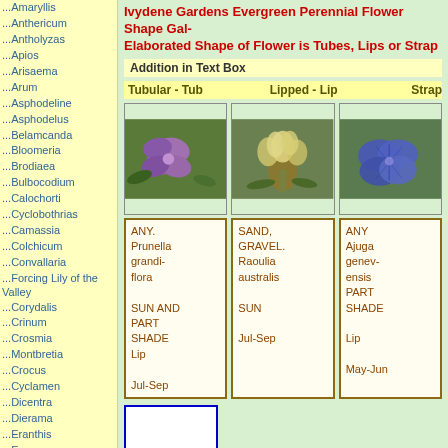...Amaryllis
...Anthericum
...Antholyzas
...Apios
...Arisaema
...Arum
...Asphodeline
...Asphodelus
...Belamcanda
...Bloomeria
...Brodiaea
...Bulbocodium
...Calochorti
...Cyclobothrias
...Camassia
...Colchicum
...Convallaria
...Forcing Lily of the Valley
...Corydalis
...Crinum
...Crosmia
...Montbretia
...Crocus
...Cyclamen
...Dicentra
...Dierama
...Eranthis
...Eremurus
...Erythrnium
...Eucomis
...Fritillaria
...Funkia
...Galanthus
...Galtonia
...Gladiolus
...Hemerocallis
...Hyacinth
...Hyacinths in Pots
...Scilla
...Puschkinia
Ivydene Gardens Evergreen Perennial Flower Shape Gal- Elaborated Shape of Flower is Tubes, Lips or Strap
Addition in Text Box
Tubular - Tub    Lipped - Lip    Strap
[Figure (photo): Three flower photos: purple lipped flower, pale yellow plant, blue/purple flower]
| ANY. Prunella grandi-flora
SUN AND PART SHADE
Lip
Jul-Sep | SAND, GRAVEL. Raoulia australis
SUN
Jul-Sep | ANY Ajuga genev-ensis PART SHADE
Lip
May-Jun |